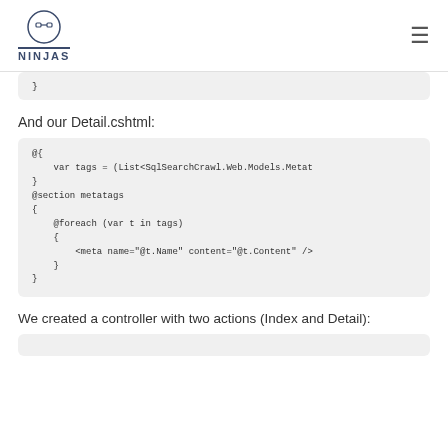DEVSCODE NINJAS
}
And our Detail.cshtml:
@{
    var tags = (List<SqlSearchCrawl.Web.Models.Metat
}
@section metatags
{
    @foreach (var t in tags)
    {
        <meta name="@t.Name" content="@t.Content" />
    }
}
We created a controller with two actions (Index and Detail):